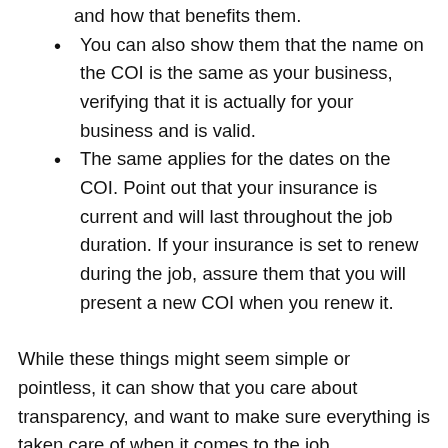and how that benefits them.
You can also show them that the name on the COI is the same as your business, verifying that it is actually for your business and is valid.
The same applies for the dates on the COI. Point out that your insurance is current and will last throughout the job duration. If your insurance is set to renew during the job, assure them that you will present a new COI when you renew it.
While these things might seem simple or pointless, it can show that you care about transparency, and want to make sure everything is taken care of when it comes to the job.